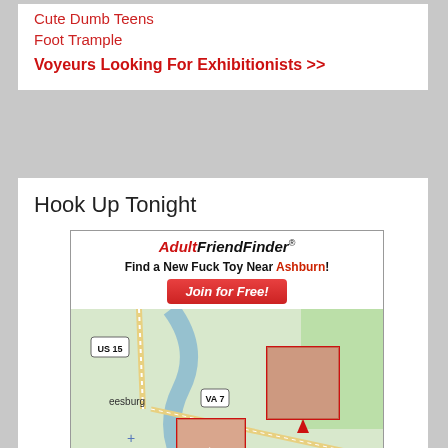Cute Dumb Teens
Foot Trample
Voyeurs Looking For Exhibitionists >>
Hook Up Tonight
[Figure (screenshot): AdultFriendFinder advertisement widget showing a map of the Ashburn/Leesburg VA area with profile photo pins placed on the map. Header reads 'AdultFriendFinder Find a New Fuck Toy Near Ashburn! Join for Free!' with a red button. Map shows roads including US 15, VA 7, VA 267, with Leesburg and Leesburg Executive Airport labeled.]